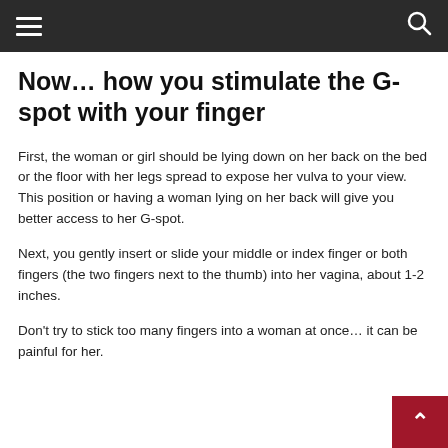☰  🔍
Now… how you stimulate the G-spot with your finger
First, the woman or girl should be lying down on her back on the bed or the floor with her legs spread to expose her vulva to your view. This position or having a woman lying on her back will give you better access to her G-spot.
Next, you gently insert or slide your middle or index finger or both fingers (the two fingers next to the thumb) into her vagina, about 1-2 inches.
Don't try to stick too many fingers into a woman at once… it can be painful for her.